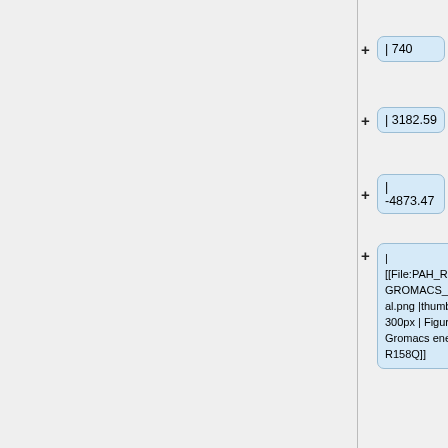| 33282.8
| 740
| 3182.59
| -4873.47
| [[File:PAH_R158Q_GROMACS_Potential.png |thumb | 300px | Figure 23: Gromacs energy of R158Q]]
|}
==== R261Q ====
==== R261Q ====
{| border="1"
| Category
| Average
| E...